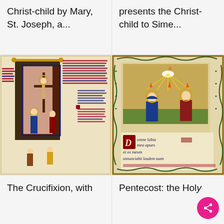Christ-child by Mary, St. Joseph, a...
presents the Christ-child to Sime...
[Figure (illustration): Medieval illuminated manuscript page showing a large decorated initial letter with a Crucifixion scene inside, flanked by figures. Red and blue manuscript text surrounds the illustration on aged parchment-colored pages.]
[Figure (illustration): Medieval illuminated manuscript page showing a Pentecost scene with the Holy Spirit as a dove descending with flames on figures below, surrounded by elaborate floral border decoration on cream/gold background. Text reads: 'omne labia mea apies et os meum annunciabit laudem tuam']
The Crucifixion, with
Pentecost: the Holy